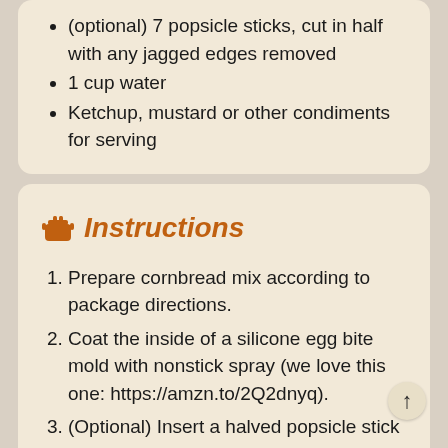(optional) 7 popsicle sticks, cut in half with any jagged edges removed
1 cup water
Ketchup, mustard or other condiments for serving
Instructions
Prepare cornbread mix according to package directions.
Coat the inside of a silicone egg bite mold with nonstick spray (we love this one: https://amzn.to/2Q2dnyq).
(Optional) Insert a halved popsicle stick into the cut end of each hot dog segment.
Place a hot dog segment in each egg bit mold.
Divide cornbread batter amongst the egg bite molds. Tap the mold on the counter...